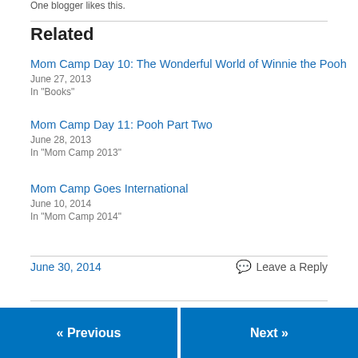One blogger likes this.
Related
Mom Camp Day 10: The Wonderful World of Winnie the Pooh
June 27, 2013
In "Books"
Mom Camp Day 11: Pooh Part Two
June 28, 2013
In "Mom Camp 2013"
Mom Camp Goes International
June 10, 2014
In "Mom Camp 2014"
June 30, 2014
Leave a Reply
« Previous
Next »